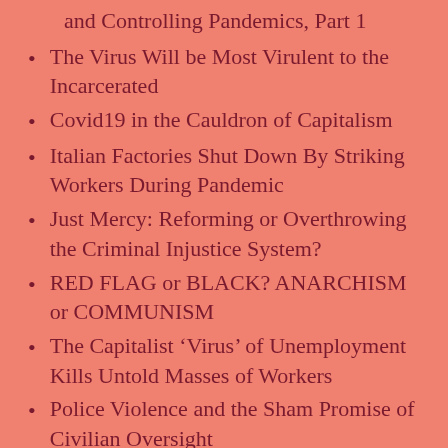and Controlling Pandemics, Part 1
The Virus Will be Most Virulent to the Incarcerated
Covid19 in the Cauldron of Capitalism
Italian Factories Shut Down By Striking Workers During Pandemic
Just Mercy: Reforming or Overthrowing the Criminal Injustice System?
RED FLAG or BLACK? ANARCHISM or COMMUNISM
The Capitalist ‘Virus’ of Unemployment Kills Untold Masses of Workers
Police Violence and the Sham Promise of Civilian Oversight
Environmental Injustice in the Amazon and Beyond – Racism on a Global Scale